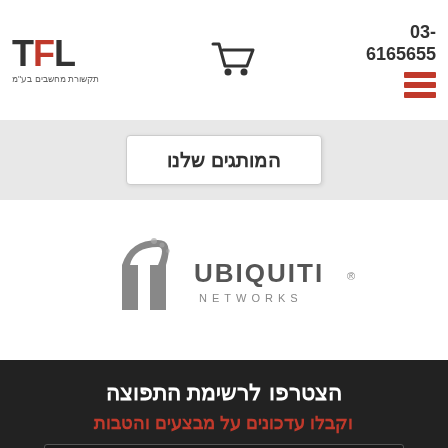[Figure (logo): TFL logo - tech company logo with TFL letters and Hebrew subtitle]
03-6165655
[Figure (logo): Ubiquiti Networks logo in grayscale]
המותגים שלנו
הצטרפו לרשימת התפוצה
וקבלו עדכונים על מבצעים והטבות
שם